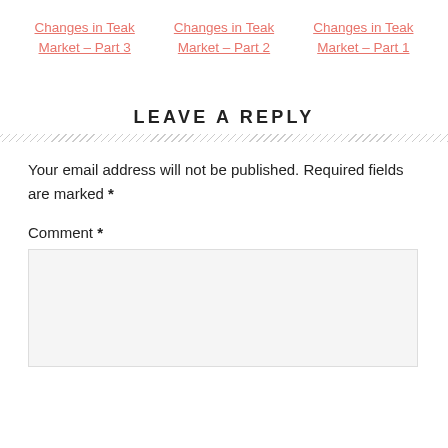Changes in Teak Market – Part 3
Changes in Teak Market – Part 2
Changes in Teak Market – Part 1
LEAVE A REPLY
Your email address will not be published. Required fields are marked *
Comment *